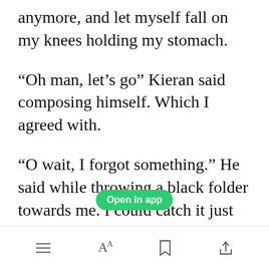anymore, and let myself fall on my knees holding my stomach.
“Oh man, let’s go” Kieran said composing himself. Which I agreed with.
“O wait, I forgot something.” He said while throwing a black folder towards me. I could catch it just before it could hit me in the head.
[Figure (other): Green 'Open in app' button overlay]
Toolbar with menu, font, bookmark, and share icons